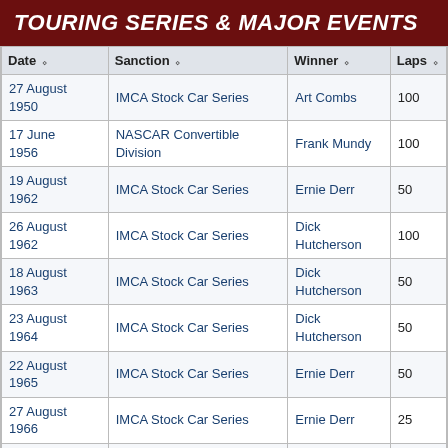TOURING SERIES & MAJOR EVENTS
| Date | Sanction | Winner | Laps |
| --- | --- | --- | --- |
| 27 August 1950 | IMCA Stock Car Series | Art Combs | 100 |
| 17 June 1956 | NASCAR Convertible Division | Frank Mundy | 100 |
| 19 August 1962 | IMCA Stock Car Series | Ernie Derr | 50 |
| 26 August 1962 | IMCA Stock Car Series | Dick Hutcherson | 100 |
| 18 August 1963 | IMCA Stock Car Series | Dick Hutcherson | 50 |
| 23 August 1964 | IMCA Stock Car Series | Dick Hutcherson | 50 |
| 22 August 1965 | IMCA Stock Car Series | Ernie Derr | 50 |
| 27 August 1966 | IMCA Stock Car Series | Ernie Derr | 25 |
| 9 July 1967 | USAC National Sprint Car Series | Greg Weld |  |
| 20 August | IMCA Stock Car Series |  | 50 |